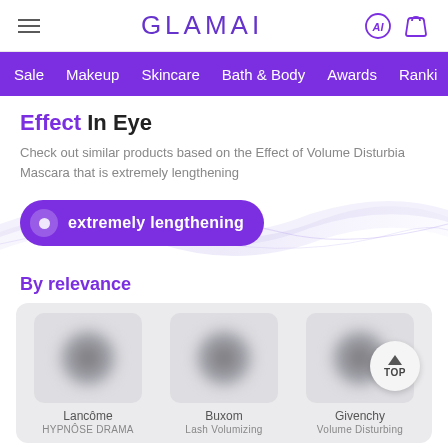GLAMAI
[Figure (screenshot): Navigation bar with purple background showing menu items: Sale, Makeup, Skincare, Bath & Body, Awards, Ranki...]
Effect In Eye
Check out similar products based on the Effect of Volume Disturbia Mascara that is extremely lengthening
[Figure (infographic): Purple pill-shaped badge with icon and text 'extremely lengthening' over a decorative wave background]
By relevance
[Figure (screenshot): Product cards showing blurred product images for Lancôme, Buxom, and Givenchy brands with a TOP button overlay]